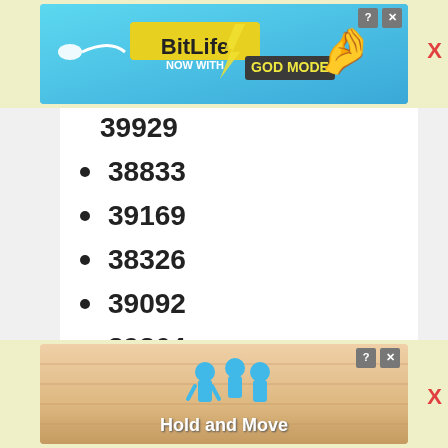[Figure (screenshot): BitLife advertisement banner at top: 'BitLife NOW WITH GOD MODE' on blue background with hand pointing graphic]
39929 (partial, cut off at top)
38833
39169
38326
39092
39364
38665
38762
39750 (partial, cut off at bottom)
[Figure (screenshot): Hold and Move game advertisement banner at bottom with blue characters on wooden surface]